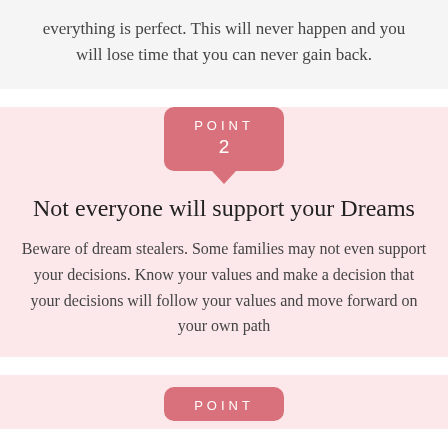everything is perfect. This will never happen and you will lose time that you can never gain back.
POINT 2
Not everyone will support your Dreams
Beware of dream stealers. Some families may not even support your decisions. Know your values and make a decision that your decisions will follow your values and move forward on your own path
POINT